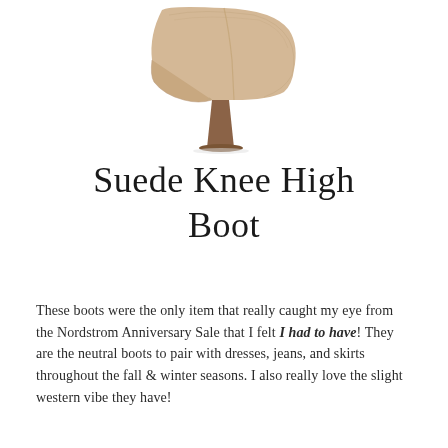[Figure (photo): A beige/tan suede high-heeled mule boot with a stacked wooden heel, shown from a side angle, cropped at the top of the page.]
Suede Knee High Boot
These boots were the only item that really caught my eye from the Nordstrom Anniversary Sale that I felt I had to have! They are the neutral boots to pair with dresses, jeans, and skirts throughout the fall & winter seasons. I also really love the slight western vibe they have!